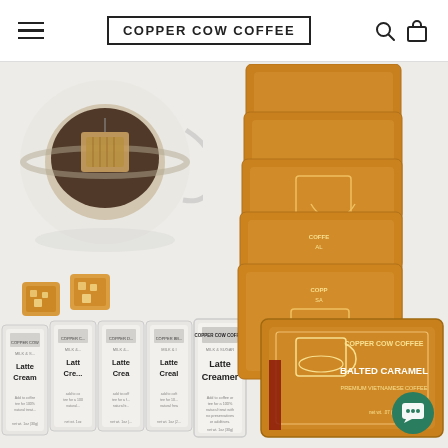COPPER COW COFFEE
[Figure (photo): Copper Cow Coffee product photo showing a glass mug with a pour-over coffee filter bag on top, caramel candies, a row of Latte Creamer packets, and a stack of Balted Caramel premium Vietnamese coffee filter packets in brown packaging.]